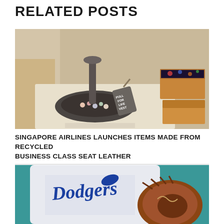RELATED POSTS
[Figure (photo): Close-up photo of business class airline seat accessories: a dark charcoal leather tray with items, a luggage tag reading 'PULL FOR LIFE VEST', and wooden boxes with floral-patterned lining on a cream-colored surface.]
SINGAPORE AIRLINES LAUNCHES ITEMS MADE FROM RECYCLED BUSINESS CLASS SEAT LEATHER
[Figure (photo): Photo of a baseball player in a Los Angeles Dodgers white uniform holding a brown leather baseball glove, with a teal background.]